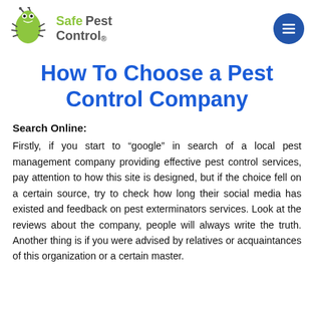[Figure (logo): Safe Pest Control logo with green cartoon bug/ant character and text 'Safe Pest Control' in grey and green, plus blue circular hamburger menu button]
How To Choose a Pest Control Company
Search Online:
Firstly, if you start to “google” in search of a local pest management company providing effective pest control services, pay attention to how this site is designed, but if the choice fell on a certain source, try to check how long their social media has existed and feedback on pest exterminators services. Look at the reviews about the company, people will always write the truth. Another thing is if you were advised by relatives or acquaintances of this organization or a certain master.